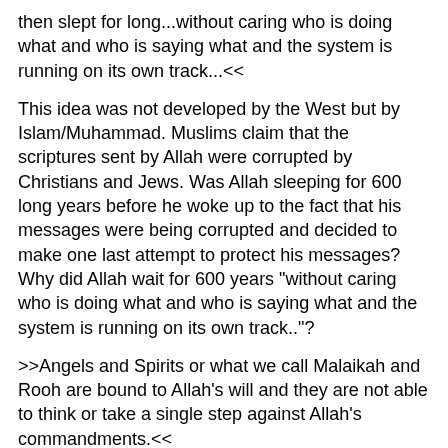then slept for long...without caring who is doing what and who is saying what and the system is running on its own track...<<
This idea was not developed by the West but by Islam/Muhammad. Muslims claim that the scriptures sent by Allah were corrupted by Christians and Jews. Was Allah sleeping for 600 long years before he woke up to the fact that his messages were being corrupted and decided to make one last attempt to protect his messages? Why did Allah wait for 600 years "without caring who is doing what and who is saying what and the system is running on its own track.."?
>>Angels and Spirits or what we call Malaikah and Rooh are bound to Allah's will and they are not able to think or take a single step against Allah's commandments.<<
What you are really getting at is that humans can defy Allah's commandments and that angels have been created without the ability to think and go against Allah's will. But Mansoor the Koran itself tells us that Allah failed in this project. Iblis defied Allah and proved that He is incapable of creating entities that obey his will. Iblis had free will. If he did not what it means is that Iblis was and is acting according to